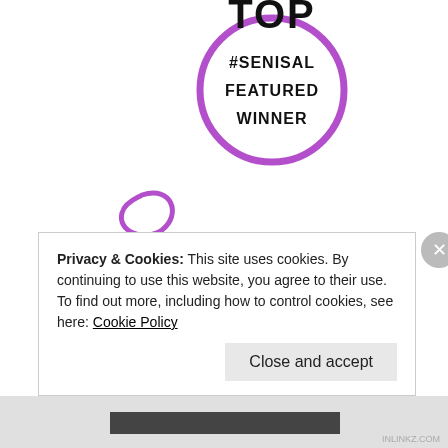[Figure (logo): Circular badge with purple border showing 'TOP #SENISAL FEATURED WINNER' text in black]
[Figure (illustration): Purple hand-drawn curly arrow pointing downward to the right]
[Figure (logo): Black decorative S-shaped swirl logo for Senior Salon]
The Senior Salon, where
Senior Salon
[Figure (logo): Inlinkz teal splat logo with text 'inlinkz']
Privacy & Cookies: This site uses cookies. By continuing to use this website, you agree to their use.
To find out more, including how to control cookies, see here: Cookie Policy
Close and accept